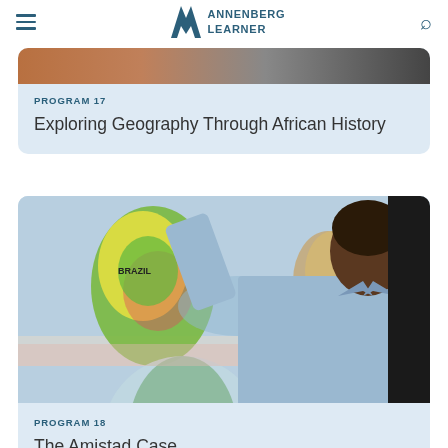ANNENBERG LEARNER
[Figure (photo): Partial view of a person's hands, cropped at top of card 1]
PROGRAM 17
Exploring Geography Through African History
[Figure (photo): A man in a light blue shirt pointing at a large world map on a wall, showing South America with 'BRAZIL' labeled]
PROGRAM 18
The Amistad Case